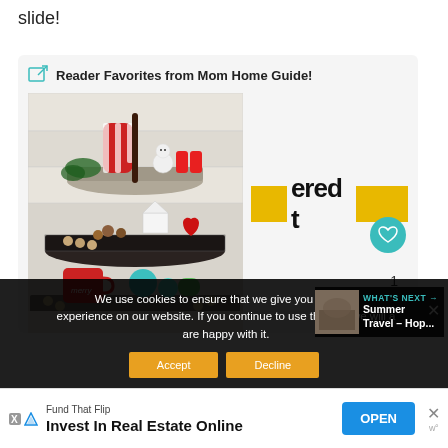slide!
Reader Favorites from Mom Home Guide!
[Figure (photo): A three-tiered galvanized tray decorated with Christmas/Valentine items including a striped mitten, snowman figurines, small white house, red mug, turquoise items, and wooden beads]
ered tr
We use cookies to ensure that we give you the best experience on our website. If you continue to use this site we will assume that you are happy with it.
WHAT'S NEXT → Summer Travel – Hop...
Fund That Flip
Invest In Real Estate Online
OPEN